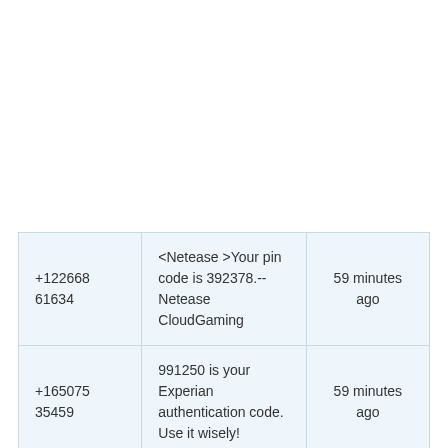| +122668 61634 | <Netease >Your pin code is 392378.--Netease CloudGaming | 59 minutes ago |
| +165075 35459 | 991250 is your Experian authentication code. Use it wisely! | 59 minutes ago |